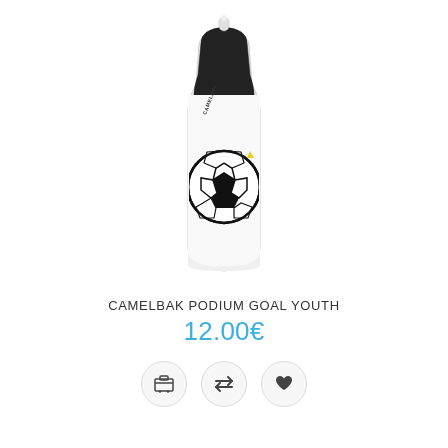[Figure (photo): CamelBak Podium Goal Youth water bottle — clear/white squeeze bottle with black cap and bite valve, soccer ball graphic with blue hash marks and yellow triangle accents on the body, CamelBak logo on upper body.]
CAMELBAK PODIUM GOAL YOUTH
12.00€
[Figure (other): Three circular action buttons: shopping cart icon, compare/transfer arrows icon, and heart/favorite icon.]